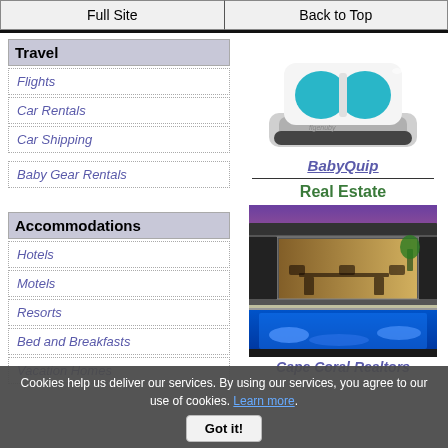Full Site | Back to Top
Travel
Flights
Car Rentals
Car Shipping
Baby Gear Rentals
[Figure (photo): BabyQuip product photo - white and teal baby gear device on charging dock]
BabyQuip
Real Estate
Accommodations
Hotels
Motels
Resorts
Bed and Breakfasts
Vacation Homes
[Figure (photo): Luxury home with pool lit in blue at night, indoor-outdoor living space]
Cape Coral Realtors
Cookies help us deliver our services. By using our services, you agree to our use of cookies. Learn more.
Got it!